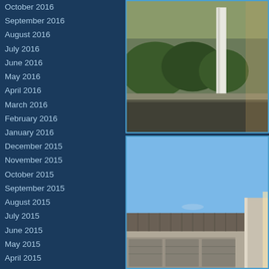October 2016
September 2016
August 2016
July 2016
June 2016
May 2016
April 2016
March 2016
February 2016
January 2016
December 2015
November 2015
October 2015
September 2015
August 2015
July 2015
June 2015
May 2015
April 2015
March 2015
February 2015
January 2015
December 2014
November 2014
October 2014
September 2014
August 2014
[Figure (photo): Outdoor photo showing shrubs and a white pole/pillar with a billboard visible in the background, late afternoon lighting.]
[Figure (photo): Photo of a commercial building roofline with metal roof panels against a clear blue sky, sunlight on the right side.]